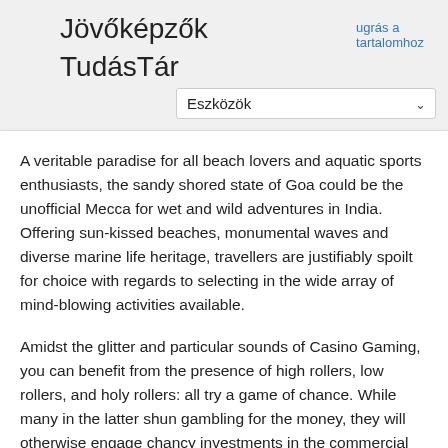ugrás a tartalomhoz
Jövőképzők TudásTár
Eszközök
A veritable paradise for all beach lovers and aquatic sports enthusiasts, the sandy shored state of Goa could be the unofficial Mecca for wet and wild adventures in India. Offering sun-kissed beaches, monumental waves and diverse marine life heritage, travellers are justifiably spoilt for choice with regards to selecting in the wide array of mind-blowing activities available.
Amidst the glitter and particular sounds of Casino Gaming, you can benefit from the presence of high rollers, low rollers, and holy rollers: all try a game of chance. While many in the latter shun gambling for the money, they will otherwise engage chancy investments in the commercial world or else benefit others investing a lot to the return of